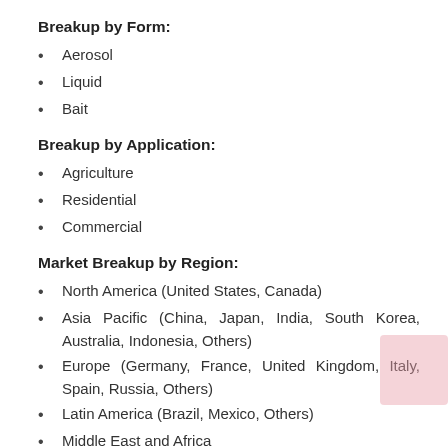Breakup by Form:
Aerosol
Liquid
Bait
Breakup by Application:
Agriculture
Residential
Commercial
Market Breakup by Region:
North America (United States, Canada)
Asia Pacific (China, Japan, India, South Korea, Australia, Indonesia, Others)
Europe (Germany, France, United Kingdom, Italy, Spain, Russia, Others)
Latin America (Brazil, Mexico, Others)
Middle East and Africa
Competitive Landscape and Key Players: